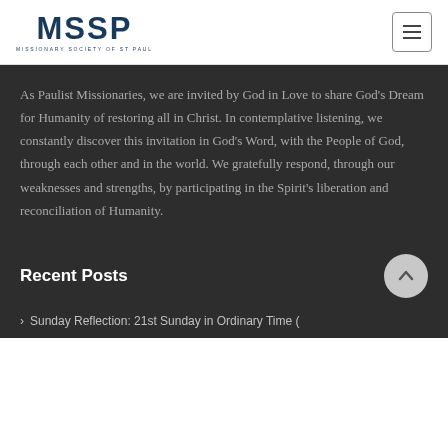[Figure (logo): MSSP logo — Missionary Society of St Paul, dark blue text]
As Paulist Missionaries, we are invited by God in Love to share God's Dream for Humanity of restoring all in Christ. In contemplative listening, we constantly discover this invitation in God's Word, with the People of God, through each other and in the world. We gratefully respond, through our weaknesses and strengths, by participating in the Spirit's liberation and reconciliation of Humanity.
Recent Posts
Sunday Reflection: 21st Sunday in Ordinary Time (